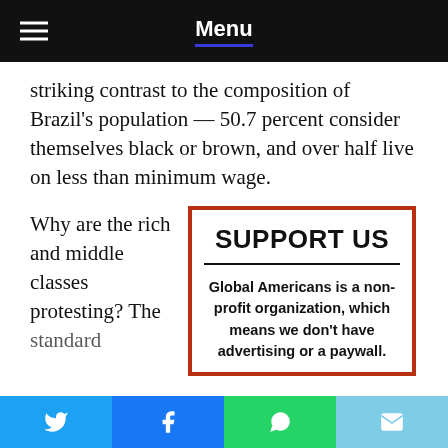Menu
striking contrast to the composition of Brazil’s population — 50.7 percent consider themselves black or brown, and over half live on less than minimum wage.
Why are the rich and middle classes protesting? The standard
[Figure (infographic): Support Us box with red border. Title: SUPPORT US. Body: Global Americans is a non-profit organization, which means we don’t have advertising or a paywall.]
Twitter share | Facebook share | WhatsApp share | Email share